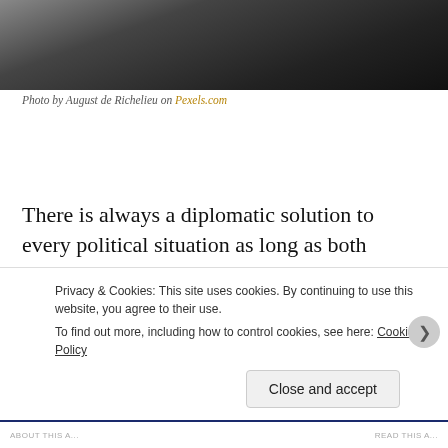[Figure (photo): Photograph of a person at a desk with papers and a flag, taken by August de Richelieu]
Photo by August de Richelieu on Pexels.com
There is always a diplomatic solution to every political situation as long as both parties desire peace and stability. Unfortunately, diplomacy is a long game strategy, something that takes time, and some world leaders do not have much patience. Diplomacy also usually requires some give and take a... b...
Privacy & Cookies: This site uses cookies. By continuing to use this website, you agree to their use.
To find out more, including how to control cookies, see here: Cookie Policy